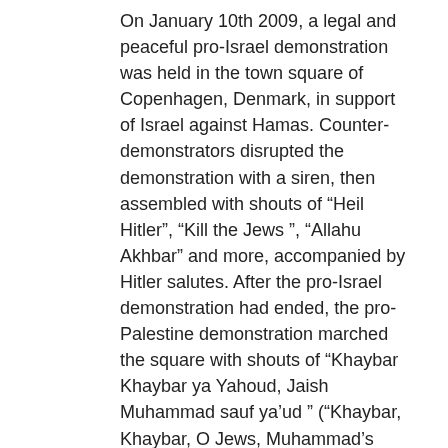On January 10th 2009, a legal and peaceful pro-Israel demonstration was held in the town square of Copenhagen, Denmark, in support of Israel against Hamas. Counter-demonstrators disrupted the demonstration with a siren, then assembled with shouts of “Heil Hitler”, “Kill the Jews ”, “Allahu Akhbar” and more, accompanied by Hitler salutes. After the pro-Israel demonstration had ended, the pro-Palestine demonstration marched the square with shouts of “Khaybar Khaybar ya Yahoud, Jaish Muhammad sauf ya’ud ” (“Khaybar, Khaybar, O Jews, Muhammad’s army will return”), a reference to Muhammad’s violent assault on the Jewish settlement of Khaybar, Medina, and thus an implied threat of violence against Jews. Gülay Kocbay and Havva Kocbay participated in the counter-demonstration, using the siren and holding a speech. They were at the time members of the organisation Muslimer i Dialog (“Muslims in Dialogue”), but resigned due to the siren incident. The open display of anti-Semitism was not mentioned in their resignation